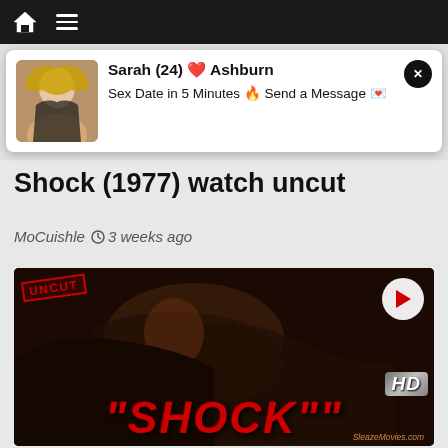[Figure (screenshot): Top navigation bar with house icon and hamburger menu on dark background]
[Figure (screenshot): Advertisement popup showing a woman photo, text 'Sarah (24) ❤ Ashburn Sex Date in 5 Minutes 🔥 Send a Message 💌' with a close button]
Shock (1977) watch uncut
MoCuishle  🕐 3 weeks ago
[Figure (screenshot): Video thumbnail for the 1977 film 'Shock' with UNCUT stamp, play button, HD badge, and large red SHOCK title text with SleazeMovies.com watermark]